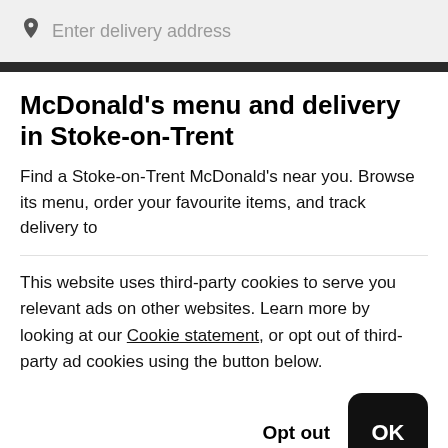[Figure (screenshot): Address bar input field with location pin icon and placeholder text 'Enter delivery address' on a light grey background]
McDonald's menu and delivery in Stoke-on-Trent
Find a Stoke-on-Trent McDonald's near you. Browse its menu, order your favourite items, and track delivery to
This website uses third-party cookies to serve you relevant ads on other websites. Learn more by looking at our Cookie statement, or opt out of third-party ad cookies using the button below.
Opt out   OK